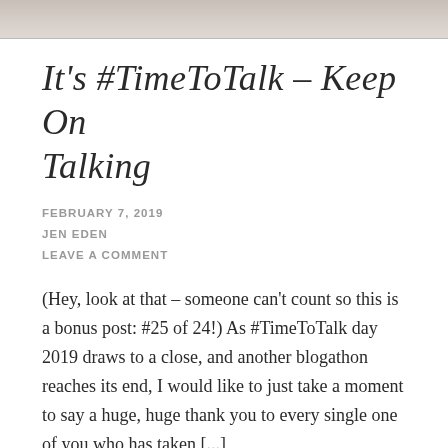[Figure (photo): Cropped photo strip at top of blog post page]
It's #TimeToTalk – Keep On Talking
FEBRUARY 7, 2019
JEN EDEN
LEAVE A COMMENT
(Hey, look at that – someone can't count so this is a bonus post: #25 of 24!) As #TimeToTalk day 2019 draws to a close, and another blogathon reaches its end, I would like to just take a moment to say a huge, huge thank you to every single one of you who has taken [...]